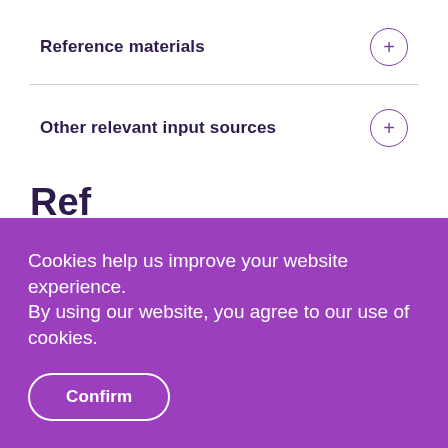Reference materials
Other relevant input sources
Cookies help us improve your website experience.
By using our website, you agree to our use of cookies.
Confirm